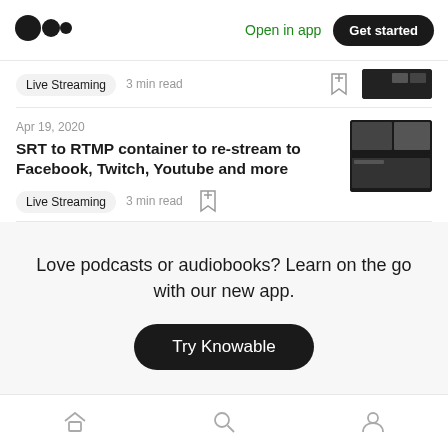Medium logo | Open in app | Get started
Live Streaming   3 min read
Apr 19, 2020
SRT to RTMP container to re-stream to Facebook, Twitch, Youtube and more
Live Streaming   3 min read
Love podcasts or audiobooks? Learn on the go with our new app.
Try Knowable
Home | Search | Profile